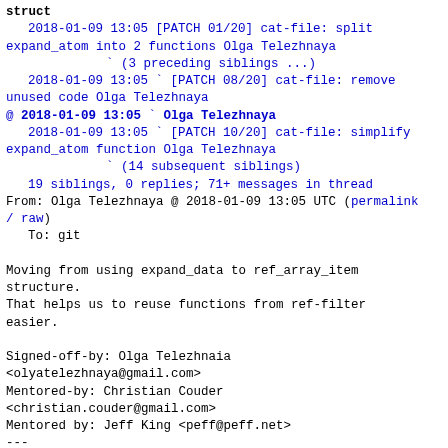struct
    2018-01-09 13:05 [PATCH 01/20] cat-file: split expand_atom into 2 functions Olga Telezhnaya
                    ` (3 preceding siblings ...)
    2018-01-09 13:05 ` [PATCH 08/20] cat-file: remove unused code Olga Telezhnaya
@ 2018-01-09 13:05 ` Olga Telezhnaya
    2018-01-09 13:05 ` [PATCH 10/20] cat-file: simplify expand_atom function Olga Telezhnaya
                    ` (14 subsequent siblings)
    19 siblings, 0 replies; 71+ messages in thread
From: Olga Telezhnaya @ 2018-01-09 13:05 UTC (permalink / raw)
    To: git

Moving from using expand_data to ref_array_item structure.
That helps us to reuse functions from ref-filter easier.

Signed-off-by: Olga Telezhnaia <olyatelezhnaya@gmail.com>
Mentored-by: Christian Couder <christian.couder@gmail.com>
Mentored by: Jeff King <peff@peff.net>
---
 builtin/cat-file.c | 30 +++++++++++++++++++----------
 ref-filter.h       |  5 ++++
 2 files changed, 24 insertions(+), 11 deletions(-)